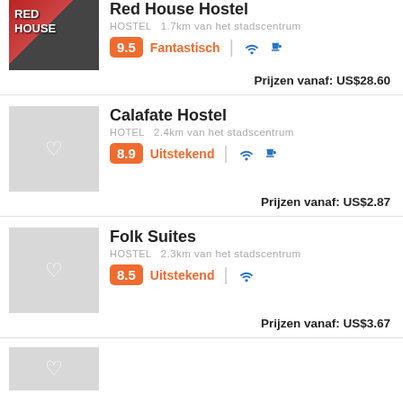[Figure (photo): Red House Hostel photo with RED HOUSE text visible]
Red House Hostel
HOSTEL  1.7km van het stadscentrum
9.5  Fantastisch
Prijzen vanaf:  US$28.60
[Figure (photo): Calafate Hostel placeholder image with heart icon]
Calafate Hostel
HOTEL  2.4km van het stadscentrum
8.9  Uitstekend
Prijzen vanaf:  US$2.87
[Figure (photo): Folk Suites placeholder image with heart icon]
Folk Suites
HOSTEL  2.3km van het stadscentrum
8.5  Uitstekend
Prijzen vanaf:  US$3.67
[Figure (photo): Partial fourth listing placeholder image]